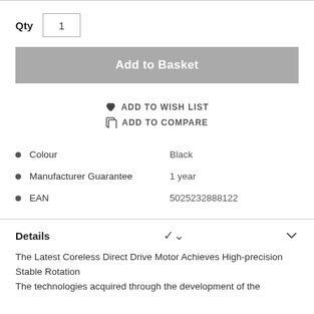Qty  1
Add to Basket
ADD TO WISH LIST
ADD TO COMPARE
Colour    Black
Manufacturer Guarantee    1 year
EAN    5025232888122
Details
The Latest Coreless Direct Drive Motor Achieves High-precision Stable Rotation
The technologies acquired through the development of the